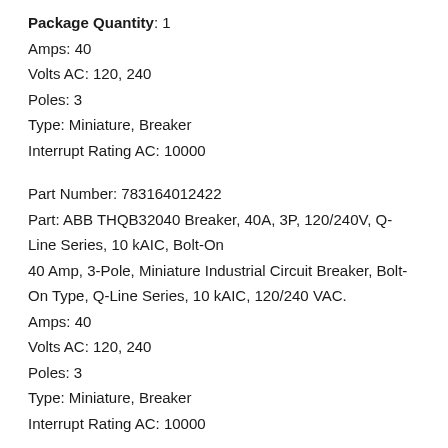Package Quantity: 1
Amps: 40
Volts AC: 120, 240
Poles: 3
Type: Miniature, Breaker
Interrupt Rating AC: 10000
Part Number: 783164012422
Part: ABB THQB32040 Breaker, 40A, 3P, 120/240V, Q-Line Series, 10 kAIC, Bolt-On
40 Amp, 3-Pole, Miniature Industrial Circuit Breaker, Bolt-On Type, Q-Line Series, 10 kAIC, 120/240 VAC.
Amps: 40
Volts AC: 120, 240
Poles: 3
Type: Miniature, Breaker
Interrupt Rating AC: 10000
ABB THQB32040 BREAKER, 40A, 3P, 120/240V, Q-LINE SERIES, 10 KAIC,